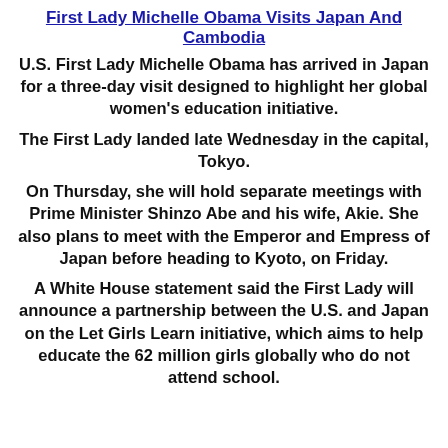First Lady Michelle Obama Visits Japan And Cambodia
U.S. First Lady Michelle Obama has arrived in Japan for a three-day visit designed to highlight her global women's education initiative.
The First Lady landed late Wednesday in the capital, Tokyo.
On Thursday, she will hold separate meetings with Prime Minister Shinzo Abe and his wife, Akie. She also plans to meet with the Emperor and Empress of Japan before heading to Kyoto, on Friday.
A White House statement said the First Lady will announce a partnership between the U.S. and Japan on the Let Girls Learn initiative, which aims to help educate the 62 million girls globally who do not attend school.